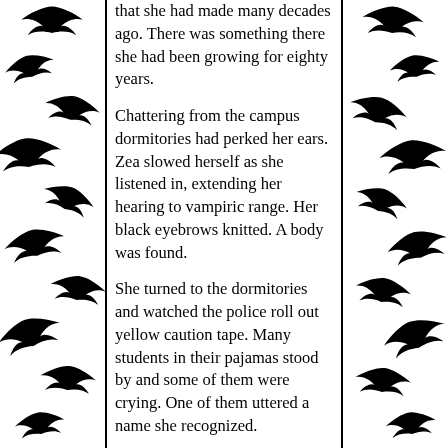[Figure (illustration): Decorative bat silhouettes border on left side of page]
that she had made many decades ago. There was something there she had been growing for eighty years.
Chattering from the campus dormitories had perked her ears. Zea slowed herself as she listened in, extending her hearing to vampiric range. Her black eyebrows knitted. A body was found.
She turned to the dormitories and watched the police roll out yellow caution tape. Many students in their pajamas stood by and some of them were crying. One of them uttered a name she recognized.
Roberta Langley had been murdered.
Now the murder rate in the city, despite supernatural beings such as herself have nestled into human society for so long, was mostly caused by humans to themselves. Her own vampire house has many strict rules whom they can
[Figure (illustration): Decorative bat silhouettes border on right side of page]